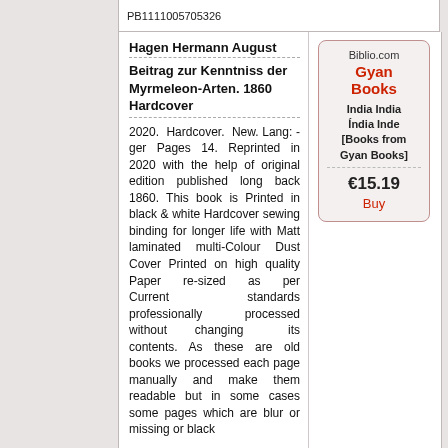PB1111005705326
Hagen Hermann August
Beitrag zur Kenntniss der Myrmeleon-Arten. 1860 Hardcover
2020. Hardcover. New. Lang: - ger Pages 14. Reprinted in 2020 with the help of original edition published long back 1860. This book is Printed in black & white Hardcover sewing binding for longer life with Matt laminated multi-Colour Dust Cover Printed on high quality Paper re-sized as per Current standards professionally processed without changing its contents. As these are old books we processed each page manually and make them readable but in some cases some pages which are blur or missing or black
Biblio.com
Gyan Books
India India Índia Inde
[Books from Gyan Books]
€15.19
Buy